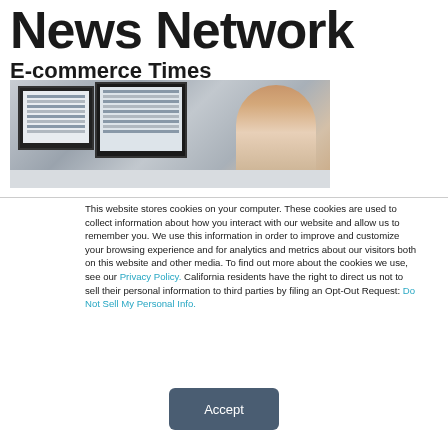News Network
E-commerce Times
[Figure (photo): Woman sitting at a desk looking at two computer monitors displaying spreadsheet data]
This website stores cookies on your computer. These cookies are used to collect information about how you interact with our website and allow us to remember you. We use this information in order to improve and customize your browsing experience and for analytics and metrics about our visitors both on this website and other media. To find out more about the cookies we use, see our Privacy Policy. California residents have the right to direct us not to sell their personal information to third parties by filing an Opt-Out Request: Do Not Sell My Personal Info.
Accept